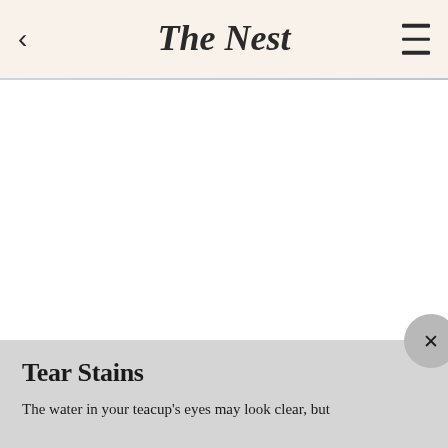The Nest
Tear Stains
The water in your teacup's eyes may look clear, but